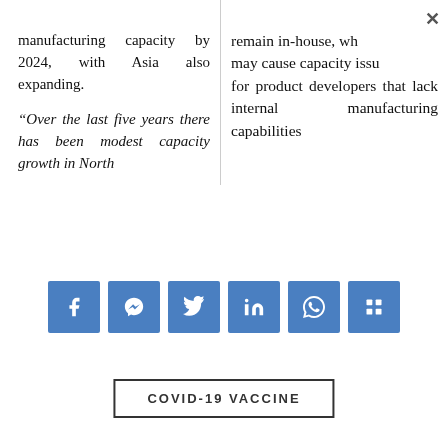manufacturing capacity by 2024, with Asia also expanding.
“Over the last five years there has been modest capacity growth in North
remain in-house, which may cause capacity issues for product developers that lack internal manufacturing capabilities
[Figure (other): Social media sharing buttons: Facebook, Messenger, Twitter, LinkedIn, WhatsApp, and one more icon, all in blue square buttons]
COVID-19 VACCINE